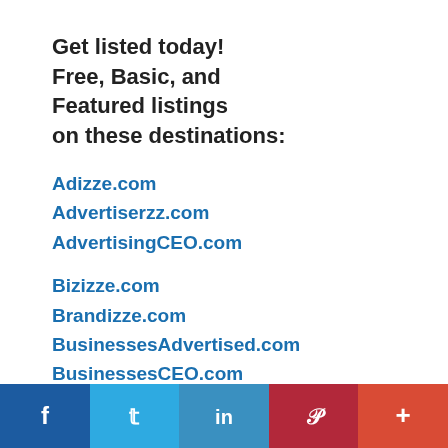Get listed today! Free, Basic, and Featured listings on these destinations:
Adizze.com
Advertiserzz.com
AdvertisingCEO.com
Bizizze.com
Brandizze.com
BusinessesAdvertised.com
BusinessesCEO.com
BusinessesFeatured.com
BusinessesHQ.com
Social share bar: Facebook, Twitter, LinkedIn, Pinterest, More